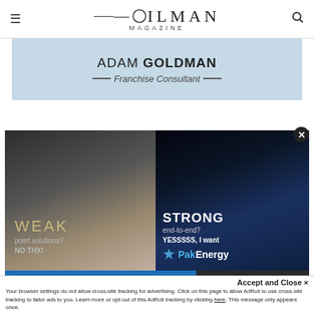OILMAN MAGAZINE
[Figure (advertisement): Adam Goldman Franchise Consultant advertisement banner with light blue background]
[Figure (advertisement): PakEnergy advertisement showing split image of weak (cat/rabbit) vs strong (wolf) with text: WEAK point solutions? NO THX! vs STRONG end-to-end? YESSSSS, I want PakEnergy]
Accept and Close ×
Your browser settings do not allow cross-site tracking for advertising. Click on this page to allow AdRoll to use cross-site tracking to tailor ads to you. Learn more or opt out of this AdRoll tracking by clicking here. This message only appears once.